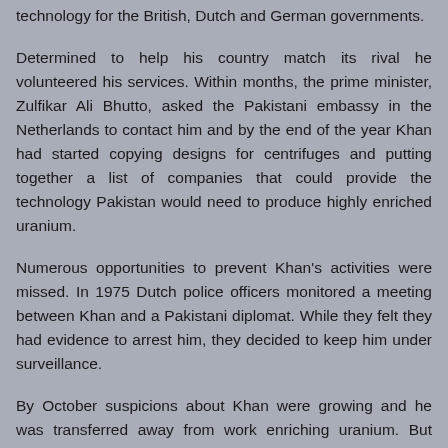technology for the British, Dutch and German governments.
Determined to help his country match its rival he volunteered his services. Within months, the prime minister, Zulfikar Ali Bhutto, asked the Pakistani embassy in the Netherlands to contact him and by the end of the year Khan had started copying designs for centrifuges and putting together a list of companies that could provide the technology Pakistan would need to produce highly enriched uranium.
Numerous opportunities to prevent Khan's activities were missed. In 1975 Dutch police officers monitored a meeting between Khan and a Pakistani diplomat. While they felt they had evidence to arrest him, they decided to keep him under surveillance.
By October suspicions about Khan were growing and he was transferred away from work enriching uranium. But Pakistan had already begun buying components for its own uranium-enrichment programme from various European companies that supplied Urenco.